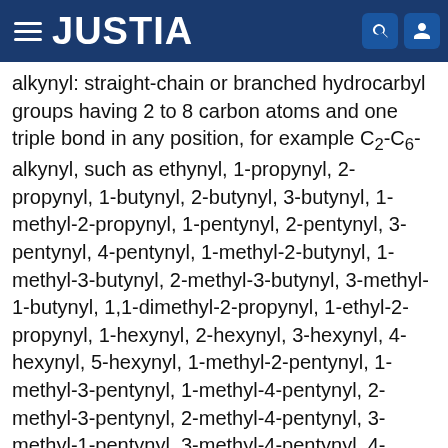JUSTIA
alkynyl: straight-chain or branched hydrocarbyl groups having 2 to 8 carbon atoms and one triple bond in any position, for example C2-C6-alkynyl, such as ethynyl, 1-propynyl, 2-propynyl, 1-butynyl, 2-butynyl, 3-butynyl, 1-methyl-2-propynyl, 1-pentynyl, 2-pentynyl, 3-pentynyl, 4-pentynyl, 1-methyl-2-butynyl, 1-methyl-3-butynyl, 2-methyl-3-butynyl, 3-methyl-1-butynyl, 1,1-dimethyl-2-propynyl, 1-ethyl-2-propynyl, 1-hexynyl, 2-hexynyl, 3-hexynyl, 4-hexynyl, 5-hexynyl, 1-methyl-2-pentynyl, 1-methyl-3-pentynyl, 1-methyl-4-pentynyl, 2-methyl-3-pentynyl, 2-methyl-4-pentynyl, 3-methyl-1-pentynyl, 3-methyl-4-pentynyl, 4-methyl-1-pentynyl, 4-methyl-2-pentynyl, 1,1-dimethyl-2-butynyl, 1,1-dimethyl-3-butynyl, 1,2-dimethyl-3-butynyl, 2,2-dimethyl-3-butynyl, 3,3-dimethyl-1-butynyl, 1-ethyl-2-butynyl, 1-ethyl-3-butynyl, 2-ethyl-3-butynyl and 1-ethyl-1-methyl-2-propynyl; alkoxy: saturated, straight-chain or branched alkoxy